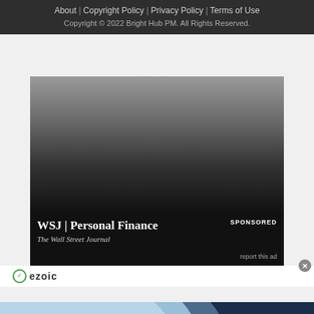About | Copyright Policy | Privacy Policy | Terms of Use
Copyright © 2022 Bright Hub PM. All Rights Reserved.
[Figure (screenshot): WSJ Personal Finance advertisement card with dark gradient background showing 'WSJ | Personal Finance' title and 'The Wall Street Journal' subtitle, marked as SPONSORED with ezoic badge]
[Figure (infographic): Top Junior Gold Mining Stock banner ad: 'Get access to the next Top mining "Micro Cap" here!' with EXPLORE NOW button on dark navy background]